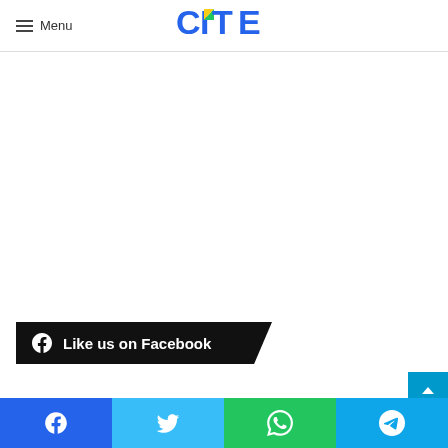Menu | CITE logo
[Figure (logo): CITE logo with mosaic C, yellow-green triangle I, blue-green T, blue E letters]
Like us on Facebook
Facebook | Twitter | WhatsApp | Telegram social share bar